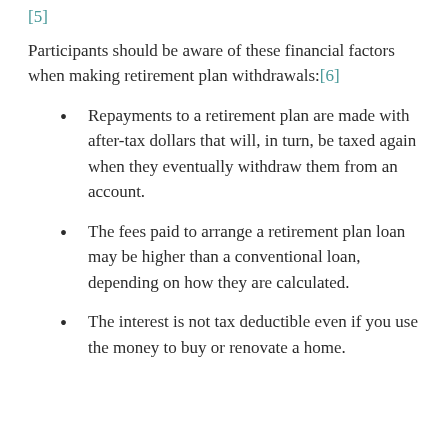[5]
Participants should be aware of these financial factors when making retirement plan withdrawals:[6]
Repayments to a retirement plan are made with after-tax dollars that will, in turn, be taxed again when they eventually withdraw them from an account.
The fees paid to arrange a retirement plan loan may be higher than a conventional loan, depending on how they are calculated.
The interest is not tax deductible even if you use the money to buy or renovate a home.